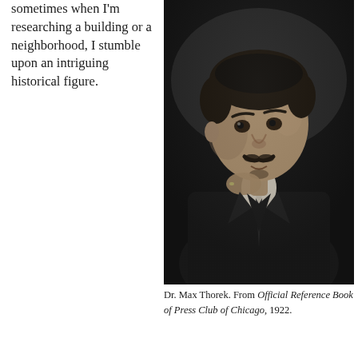sometimes when I'm researching a building or a neighborhood, I stumble upon an intriguing historical figure.
[Figure (photo): Black and white portrait photograph of Dr. Max Thorek, a man with dark hair and a mustache, wearing a suit and resting his chin near his hand.]
Dr. Max Thorek. From Official Reference Book of Press Club of Chicago, 1922.